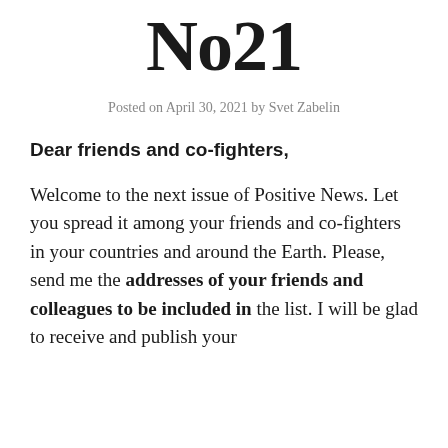No21
Posted on April 30, 2021 by Svet Zabelin
Dear friends and co-fighters,
Welcome to the next issue of Positive News. Let you spread it among your friends and co-fighters in your countries and around the Earth. Please, send me the addresses of your friends and colleagues to be included in the list. I will be glad to receive and publish your